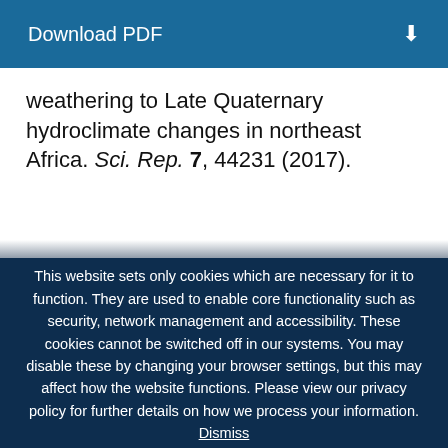[Figure (screenshot): Download PDF button bar with dark blue background and download icon]
weathering to Late Quaternary hydroclimate changes in northeast Africa. Sci. Rep. 7, 44231 (2017).
This website sets only cookies which are necessary for it to function. They are used to enable core functionality such as security, network management and accessibility. These cookies cannot be switched off in our systems. You may disable these by changing your browser settings, but this may affect how the website functions. Please view our privacy policy for further details on how we process your information. Dismiss